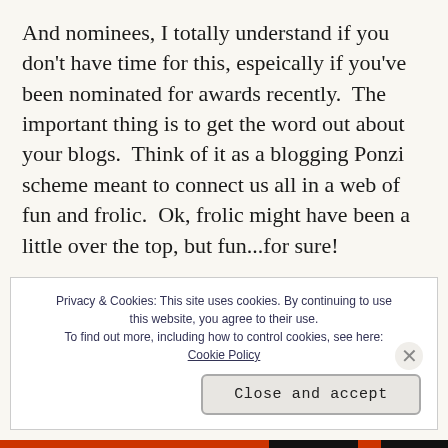And nominees, I totally understand if you don't have time for this, espeically if you've been nominated for awards recently.  The important thing is to get the word out about your blogs.  Think of it as a blogging Ponzi scheme meant to connect us all in a web of fun and frolic.  Ok, frolic might have been a little over the top, but fun...for sure!
Privacy & Cookies: This site uses cookies. By continuing to use this website, you agree to their use.
To find out more, including how to control cookies, see here: Cookie Policy